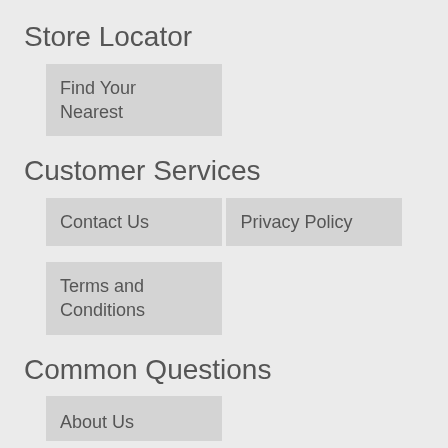Store Locator
Find Your Nearest
Customer Services
Contact Us
Privacy Policy
Terms and Conditions
Common Questions
About Us